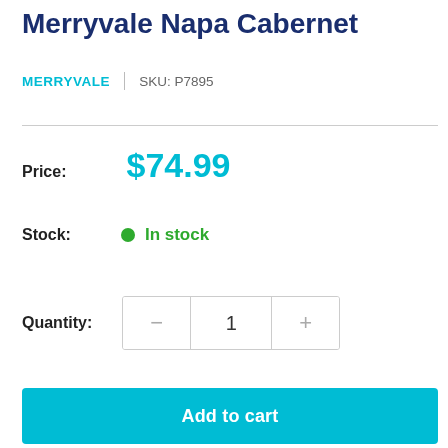Merryvale Napa Cabernet
MERRYVALE | SKU: P7895
Price: $74.99
Stock: In stock
Quantity: 1
Add to cart